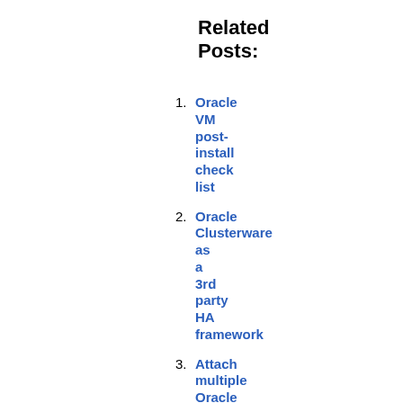Related Posts:
Oracle VM post-install checklist
Oracle Clusterware as a 3rd party HA framework
Attach multiple Oracle ASM snapshots to the same host
New version